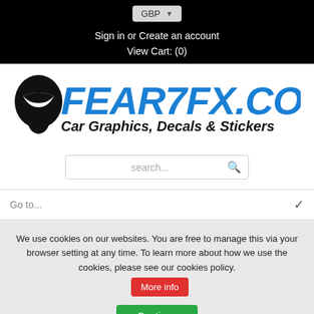GBP
Sign in or Create an account
View Cart: (0)
[Figure (logo): Fear7FX.com logo with alien head icon, blue bold italic text reading FEAR7FX.COM, subtitle Car Graphics, Decals & Stickers in black bold italic]
search...
Go to...
Home / Illest / Fallon Decals / Illest - Gone But Not Forgotten Decal Sticker
We use cookies on our websites. You are free to manage this via your browser setting at any time. To learn more about how we use the cookies, please see our cookies policy.
Continue